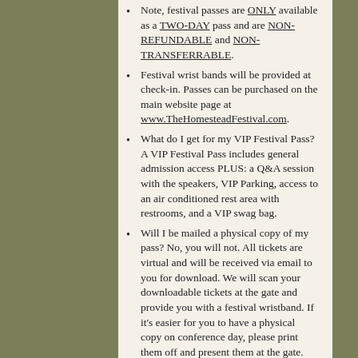Note, festival passes are ONLY available as a TWO-DAY pass and are NON-REFUNDABLE and NON-TRANSFERRABLE.
Festival wrist bands will be provided at check-in. Passes can be purchased on the main website page at www.TheHomesteadFestival.com.
What do I get for my VIP Festival Pass? A VIP Festival Pass includes general admission access PLUS: a Q&A session with the speakers, VIP Parking, access to an air conditioned rest area with restrooms, and a VIP swag bag.
Will I be mailed a physical copy of my pass? No, you will not. All tickets are virtual and will be received via email to you for download. We will scan your downloadable tickets at the gate and provide you with a festival wristband. If it's easier for you to have a physical copy on conference day, please print them off and present them at the gate.
Festival will be held rain or shine    No refunds are allowed